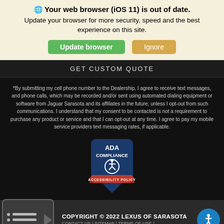Your web browser (iOS 11) is out of date.
Update your browser for more security, speed and the best experience on this site.
Update browser | Ignore
GET CUSTOM QUOTE
*By submitting my cell phone number to the Dealership, I agree to receive text messages, and phone calls, which may be recorded and/or sent using automated dialing equipment or software from Jaguar Sarasota and its affiliates in the future, unless I opt-out from such communications. I understand that my consent to be contacted is not a requirement to purchase any product or service and that I can opt-out at any time. I agree to pay my mobile service providers text messaging rates, if applicable.
[Figure (logo): ADA Compliance Accessibility Policy badge with wheelchair icon and red ribbon banner]
COPYRIGHT © 2022 LEXUS OF SARASOTA
CONTACT US | SITEMAP | TERMS OF USE |